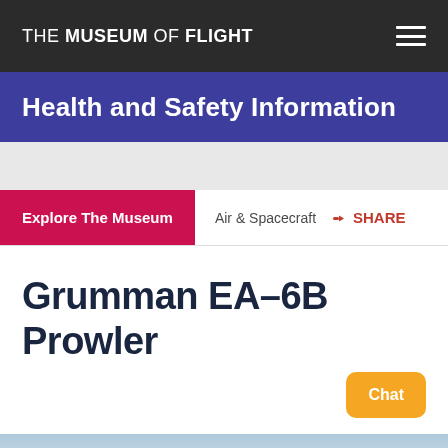THE MUSEUM OF FLIGHT
Health and Safety Information
Explore The Museum
Air & Spacecraft   SHARE
Grumman EA-6B Prowler
Chat
1/2